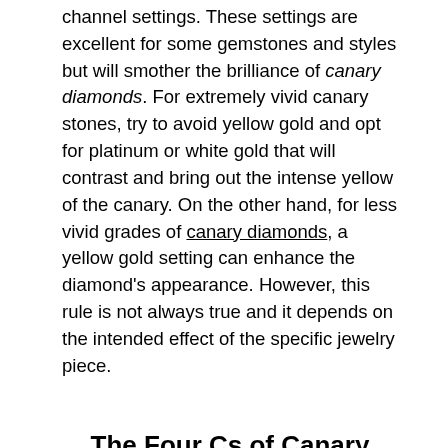channel settings. These settings are excellent for some gemstones and styles but will smother the brilliance of canary diamonds. For extremely vivid canary stones, try to avoid yellow gold and opt for platinum or white gold that will contrast and bring out the intense yellow of the canary. On the other hand, for less vivid grades of canary diamonds, a yellow gold setting can enhance the diamond's appearance. However, this rule is not always true and it depends on the intended effect of the specific jewelry piece.
The Four Cs of Canary Diamonds
Every prospective canary diamond buyer should know the "Four Cs" of diamonds. These are the most important grading categories of a diamond that primarily if not entirely determine it's value. The four Cs are: cut, carat, clarity and color. The following sections will outline some characteristics of cut, carat, clarity, and color as they uniquely relate to canary diamonds. If you don't know that the four Cs of diamonds are, learn the basics from the Gemological Institute of America: Learn About